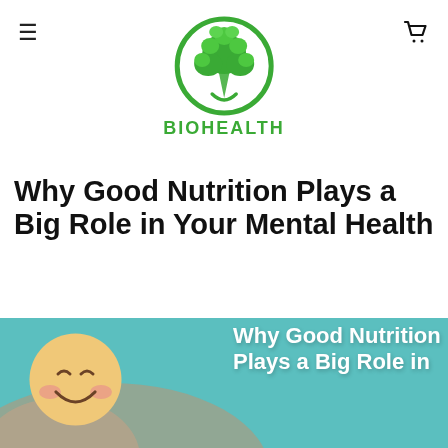BIOHEALTH
Why Good Nutrition Plays a Big Role in Your Mental Health
[Figure (photo): Hands holding a smiling emoji face on a teal background with overlaid text 'Why Good Nutrition Plays a Big Role in']